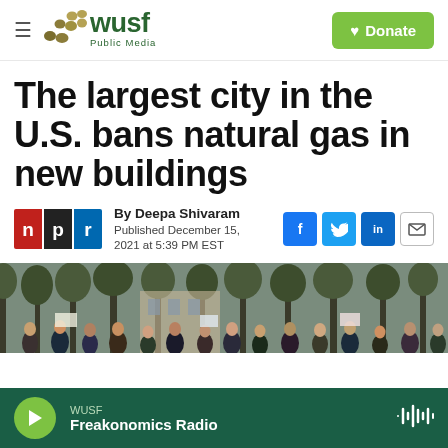[Figure (logo): WUSF Public Media logo with golden dots and green text, plus Donate button]
The largest city in the U.S. bans natural gas in new buildings
By Deepa Shivaram
Published December 15, 2021 at 5:39 PM EST
[Figure (photo): Crowd of people outdoors in winter, masked, near trees and a building, some holding signs]
[Figure (other): WUSF audio player bar at bottom showing Freakonomics Radio]